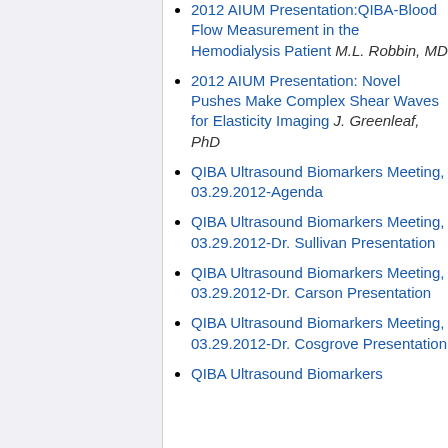2012 AIUM Presentation:QIBA-Blood Flow Measurement in the Hemodialysis Patient M.L. Robbin, MD
2012 AIUM Presentation: Novel Pushes Make Complex Shear Waves for Elasticity Imaging J. Greenleaf, PhD
QIBA Ultrasound Biomarkers Meeting, 03.29.2012-Agenda
QIBA Ultrasound Biomarkers Meeting, 03.29.2012-Dr. Sullivan Presentation
QIBA Ultrasound Biomarkers Meeting, 03.29.2012-Dr. Carson Presentation
QIBA Ultrasound Biomarkers Meeting, 03.29.2012-Dr. Cosgrove Presentation
QIBA Ultrasound Biomarkers